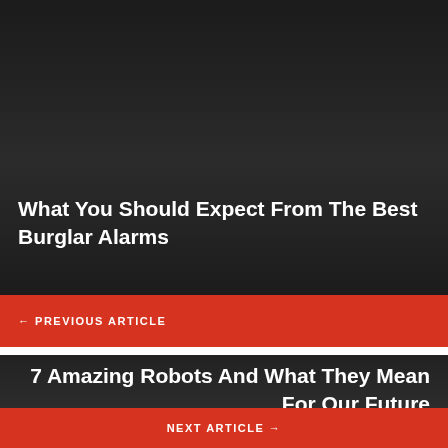[Figure (photo): Dark background image area for article about burglar alarms]
What You Should Expect From The Best Burglar Alarms
← PREVIOUS ARTICLE
[Figure (photo): Dark background image area for article about robots]
7 Amazing Robots And What They Mean For Our Future
NEXT ARTICLE →